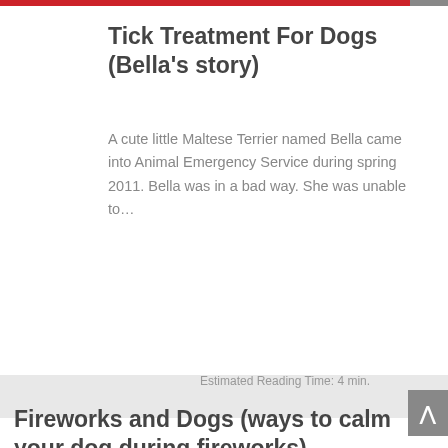Tick Treatment For Dogs (Bella's story)
A cute little Maltese Terrier named Bella came into Animal Emergency Service during spring 2011. Bella was in a bad way. She was unable to…
Dogs, Lost pets, Pet phobias
June 12th, 2019
Estimated Reading Time: 4 min.
Fireworks and Dogs (ways to calm your dog during fireworks)